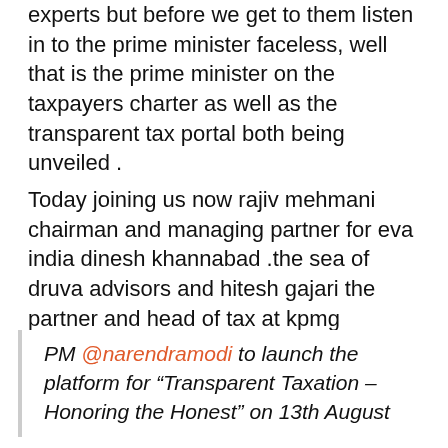experts but before we get to them listen in to the prime minister faceless, well that is the prime minister on the taxpayers charter as well as the transparent tax portal both being unveiled .
Today joining us now rajiv mehmani chairman and managing partner for eva india dinesh khannabad .the sea of druva advisors and hitesh gajari the partner and head of tax at kpmg gentlemen appreciate you joining us here on the Website.
PM @narendramodi to launch the platform for “Transparent Taxation – Honoring the Honest” on 13th August